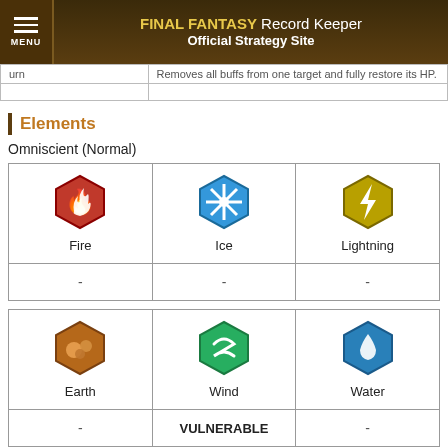FINAL FANTASY Record Keeper Official Strategy Site
| urn | Removes all buffs from one target and fully restore its HP |
|  |  |
Elements
Omniscient (Normal)
| Fire | Ice | Lightning |
| --- | --- | --- |
| - | - | - |
| Earth | Wind | Water |
| --- | --- | --- |
| - | VULNERABLE | - |